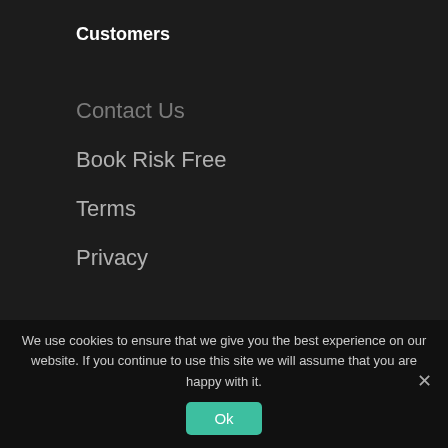Customers
Contact Us
Book Risk Free
Terms
Privacy
We use cookies to ensure that we give you the best experience on our website. If you continue to use this site we will assume that you are happy with it.
Ok